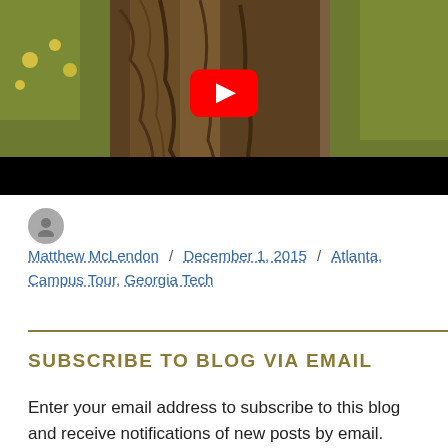[Figure (screenshot): YouTube video thumbnail showing a gnarled tree trunk with green foliage background. A red YouTube play button is centered on the image. The bottom of the video has a black bar.]
Matthew McLendon / December 1, 2015 / Atlanta, Campus Tour, Georgia Tech
SUBSCRIBE TO BLOG VIA EMAIL
Enter your email address to subscribe to this blog and receive notifications of new posts by email.